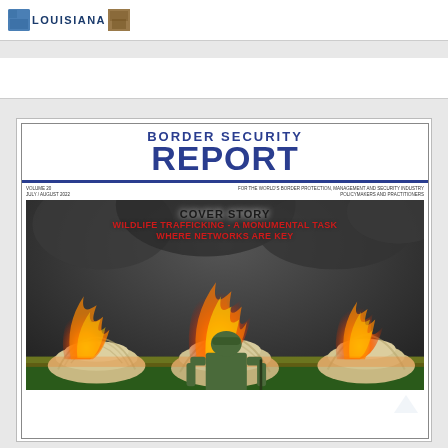[Figure (logo): Louisiana logo/banner with blue image on left, LOUISIANA text in navy, brown image on right]
[Figure (illustration): Border Security Report magazine cover thumbnail showing: title 'BORDER SECURITY REPORT', volume 20 July/August 2022, cover story about wildlife trafficking with soldier standing before burning ivory stockpiles]
COVER STORY
WILDLIFE TRAFFICKING - A MONUMENTAL TASK WHERE NETWORKS ARE KEY